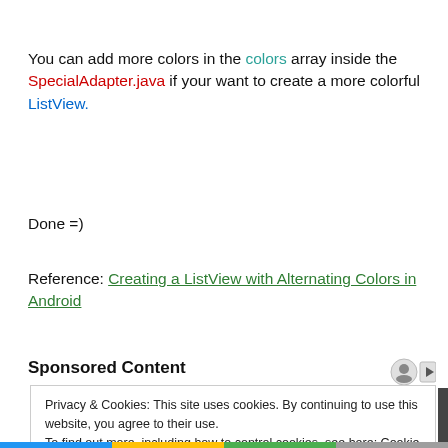You can add more colors in the colors array inside the SpecialAdapter.java if your want to create a more colorful ListView.
Done =)
Reference: Creating a ListView with Alternating Colors in Android
Sponsored Content
Privacy & Cookies: This site uses cookies. By continuing to use this website, you agree to their use. To find out more, including how to control cookies, see here: Cookie Policy